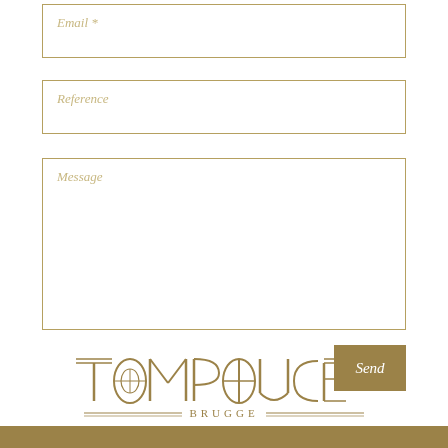Email *
Reference
Message
Send
[Figure (logo): Tom Pouce Brugge logo in gold Art Deco style lettering with double horizontal lines flanking 'BRUGGE' text below]